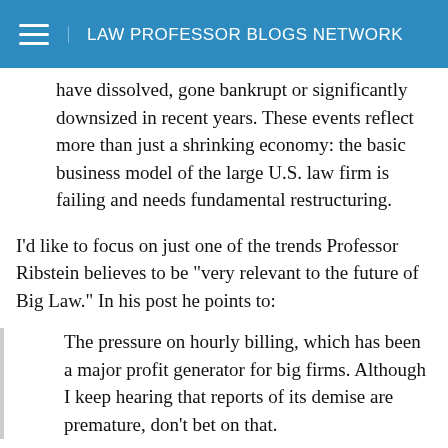LAW PROFESSOR BLOGS NETWORK
have dissolved, gone bankrupt or significantly downsized in recent years. These events reflect more than just a shrinking economy: the basic business model of the large U.S. law firm is failing and needs fundamental restructuring.
I'd like to focus on just one of the trends Professor Ribstein believes to be "very relevant to the future of Big Law." In his post he points to:
The pressure on hourly billing, which has been a major profit generator for big firms. Although I keep hearing that reports of its demise are premature, don't bet on that.
Professor Ribstein may be right. Perhaps the recent push to replace the billable hour reflects more than just a shrinking economy and will continue even